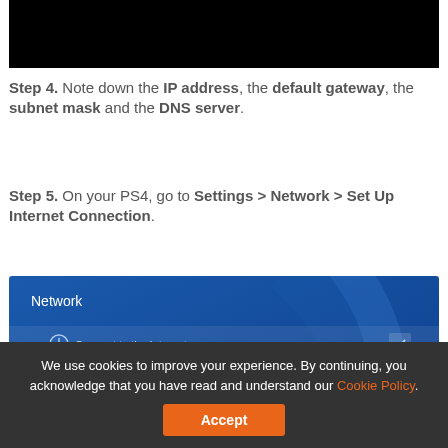[Figure (screenshot): Black rectangle representing a video or screenshot area at the top of the page]
Step 4. Note down the IP address, the default gateway, the subnet mask and the DNS server.
Step 5. On your PS4, go to Settings > Network > Set Up Internet Connection.
[Figure (screenshot): PS4 Network settings menu screenshot showing options: Connect to the Internet (checked), Set Up Internet Connection (highlighted in red box), Test Internet Connection, View Connection Status]
Step 6. Select Use WiFi if you connect your PS4 to
We use cookies to improve your experience. By continuing, you acknowledge that you have read and understand our Cookie Policy.